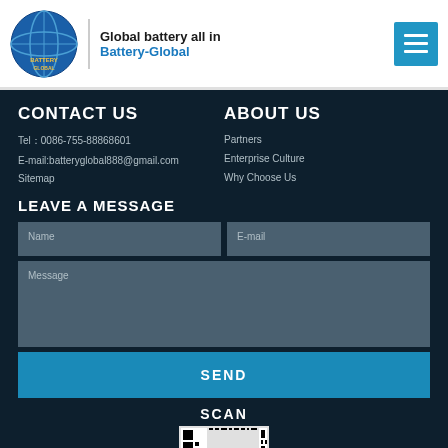[Figure (logo): Battery-Global logo with globe icon, text 'Global battery all in' and 'Battery-Global' in blue]
CONTACT US
ABOUT US
Tel：0086-755-88868601
Partners
E-mail:batteryglobal888@gmail.com
Enterprise Culture
Sitemap
Why Choose Us
LEAVE A MESSAGE
Name
E-mail
Message
SEND
SCAN